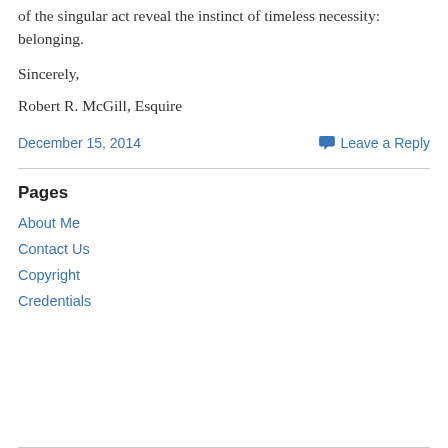of the singular act reveal the instinct of timeless necessity: belonging.
Sincerely,
Robert R. McGill, Esquire
December 15, 2014
Leave a Reply
Pages
About Me
Contact Us
Copyright
Credentials